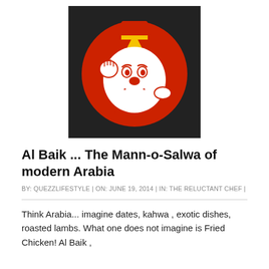[Figure (logo): Al Baik fast food restaurant logo: a cartoon chef character wearing a red top hat, with a white face and red nose, set against a dark background with a red circle. Arabic text at the bottom of the logo circle.]
Al Baik ... The Mann-o-Salwa of modern Arabia
BY: QUEZZLIFESTYLE | ON: JUNE 19, 2014 | IN: THE RELUCTANT CHEF |
Think Arabia... imagine dates, kahwa , exotic dishes, roasted lambs. What one does not imagine is Fried Chicken! Al Baik ,